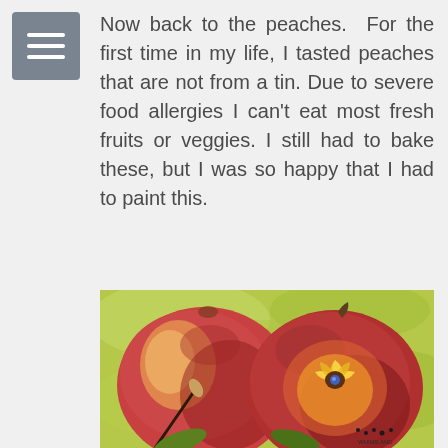Now back to the peaches. For the first time in my life, I tasted peaches that are not from a tin. Due to severe food allergies I can't eat most fresh fruits or veggies. I still had to bake these, but I was so happy that I had to paint this.
[Figure (illustration): A painting of two peaches on a green background. One peach on the left shows the whole fruit with a paintbrush resting against it. The peach on the right is cut open showing golden yellow flesh and seeds inside. There is a small watermark in the bottom right corner reading WHIMS AND.]